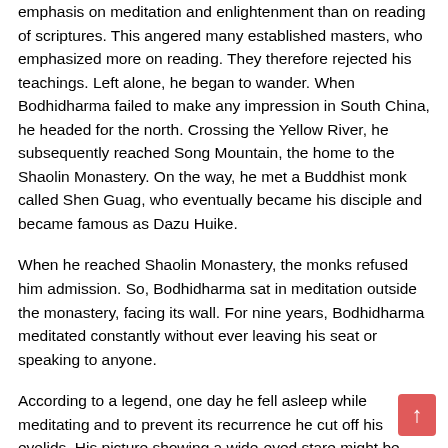emphasis on meditation and enlightenment than on reading of scriptures. This angered many established masters, who emphasized more on reading. They therefore rejected his teachings. Left alone, he began to wander. When Bodhidharma failed to make any impression in South China, he headed for the north. Crossing the Yellow River, he subsequently reached Song Mountain, the home to the Shaolin Monastery. On the way, he met a Buddhist monk called Shen Guag, who eventually became his disciple and became famous as Dazu Huike.
When he reached Shaolin Monastery, the monks refused him admission. So, Bodhidharma sat in meditation outside the monastery, facing its wall. For nine years, Bodhidharma meditated constantly without ever leaving his seat or speaking to anyone.
According to a legend, one day he fell asleep while meditating and to prevent its recurrence he cut off his eyelids. His picture showing a wide-eyed stare might be based on this legend. It is also said that sitting in the same posture for nine long years